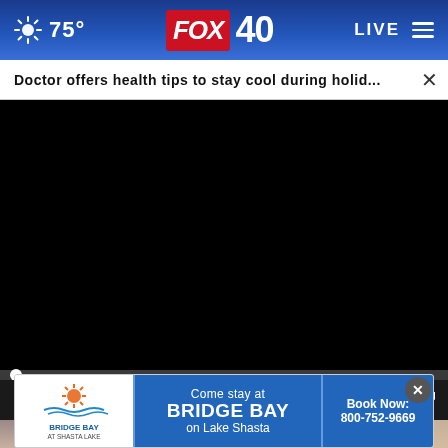75° FOX 40 LIVE
Doctor offers health tips to stay cool during holid... ×
[Figure (screenshot): Black video player area with progress bar and playback controls showing 00:00 time]
[Figure (photo): Partial view of a blonde woman's face (eyes visible) behind the ad overlay]
[Figure (infographic): Bridge Bay at Shasta Lake advertisement banner reading: Come stay at BRIDGE BAY on Lake Shasta | Book Now: 800-752-9669]